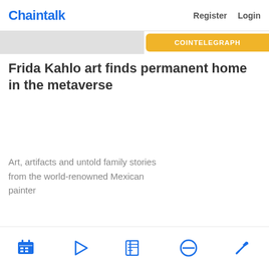Chaintalk   Register   Login
[Figure (screenshot): Partially visible yellow button labeled 'COINTELEGRAPH' and gray cropped image strip at top]
Frida Kahlo art finds permanent home in the metaverse
Art, artifacts and untold family stories from the world-renowned Mexican painter
READ MORE »
8/30/22  6:30 AM
[Figure (screenshot): Bottom navigation bar with five blue icons: calendar/notes, play button, newspaper, compass/no sign, pickaxe/tools]